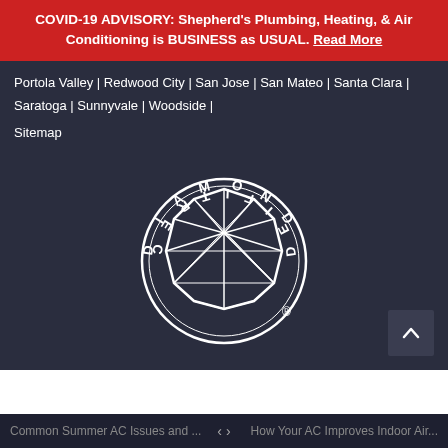COVID-19 ADVISORY: Shepherd's Plumbing, Heating, & Air Conditioning is BUSINESS as USUAL. Read More
Portola Valley | Redwood City | San Jose | San Mateo | Santa Clara | Saratoga | Sunnyvale | Woodside |
Sitemap
[Figure (logo): Diamond Certified circular logo with a gem/diamond graphic in the center, text reading DIAMOND CERTIFIED around the perimeter with a registered trademark symbol]
Common Summer AC Issues and ... < > How Your AC Improves Indoor Air...